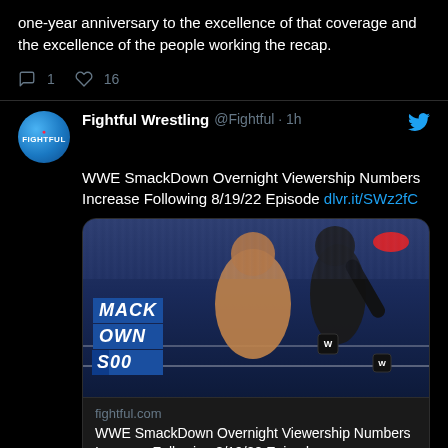one-year anniversary to the excellence of that coverage and the excellence of the people working the recap.
1  16
Fightful Wrestling @Fightful · 1h
WWE SmackDown Overnight Viewership Numbers Increase Following 8/19/22 Episode dlvr.it/SWz2fC
[Figure (photo): WWE SmackDown wrestling match photo showing two wrestlers in a ring, one performing a kick. Blue SMACKDOWN 1200 graphic visible in lower left corner.]
fightful.com
WWE SmackDown Overnight Viewership Numbers Increase Following 8/19/22 Episod...